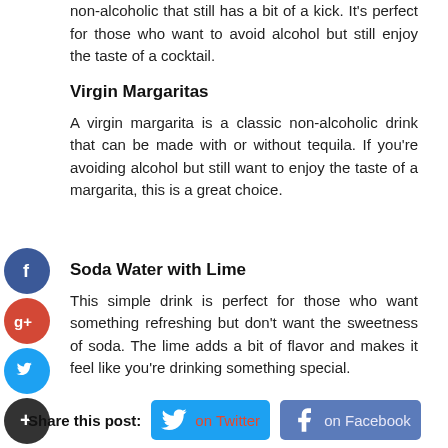non-alcoholic that still has a bit of a kick. It's perfect for those who want to avoid alcohol but still enjoy the taste of a cocktail.
Virgin Margaritas
A virgin margarita is a classic non-alcoholic drink that can be made with or without tequila. If you're avoiding alcohol but still want to enjoy the taste of a margarita, this is a great choice.
Soda Water with Lime
This simple drink is perfect for those who want something refreshing but don't want the sweetness of soda. The lime adds a bit of flavor and makes it feel like you're drinking something special.
Share this post:  on Twitter  on Facebook